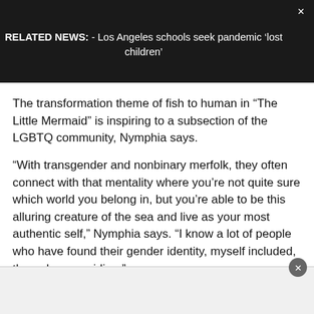RELATED NEWS: - Los Angeles schools seek pandemic ‘lost children’
The transformation theme of fish to human in “The Little Mermaid” is inspiring to a subsection of the LGBTQ community, Nymphia says.
“With transgender and nonbinary merfolk, they often connect with that mentality where you’re not quite sure which world you belong in, but you’re able to be this alluring creature of the sea and live as your most authentic self,” Nymphia says. “I know a lot of people who have found their gender identity, myself included, through mermaiding.”